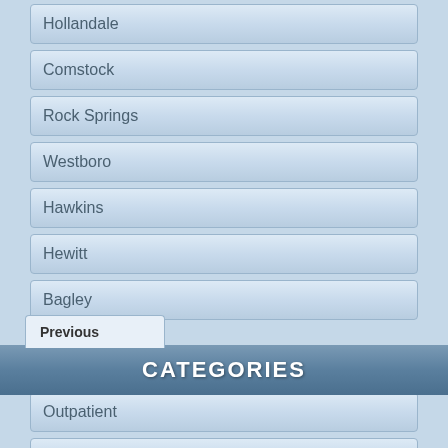Hollandale
Comstock
Rock Springs
Westboro
Hawkins
Hewitt
Bagley
Previous
CATEGORIES
Outpatient
Self Payment
Medicaid
Medicare